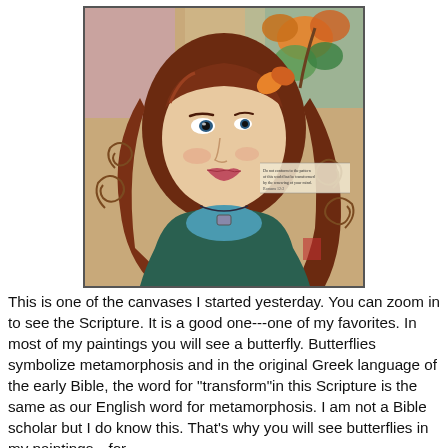[Figure (illustration): A mixed-media painting of a young woman with long auburn hair and a blue-green dress. She wears a necklace and has a butterfly/orange flower in her hair. The background features decorative swirl patterns, autumn leaves, a small house, and a small text label (scripture) on the right side. The style is folk-art or whimsical.]
This is one of the canvases I started yesterday. You can zoom in to see the Scripture. It is a good one---one of my favorites. In most of my paintings you will see a butterfly. Butterflies symbolize metamorphosis and in the original Greek language of the early Bible, the word for "transform"in this Scripture is the same as our English word for metamorphosis. I am not a Bible scholar but I do know this. That's why you will see butterflies in my paintings---for